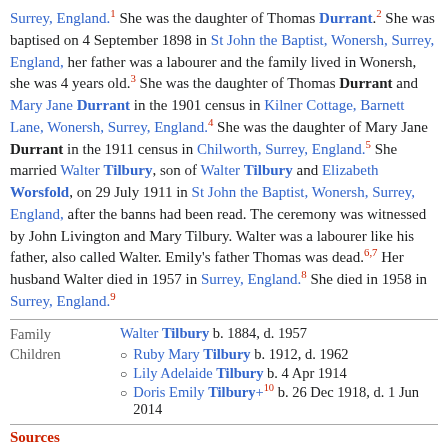Surrey, England.1 She was the daughter of Thomas Durrant.2 She was baptised on 4 September 1898 in St John the Baptist, Wonersh, Surrey, England, her father was a labourer and the family lived in Wonersh, she was 4 years old.3 She was the daughter of Thomas Durrant and Mary Jane Durrant in the 1901 census in Kilner Cottage, Barnett Lane, Wonersh, Surrey, England.4 She was the daughter of Mary Jane Durrant in the 1911 census in Chilworth, Surrey, England.5 She married Walter Tilbury, son of Walter Tilbury and Elizabeth Worsfold, on 29 July 1911 in St John the Baptist, Wonersh, Surrey, England, after the banns had been read. The ceremony was witnessed by John Livington and Mary Tilbury. Walter was a labourer like his father, also called Walter. Emily's father Thomas was dead.6,7 Her husband Walter died in 1957 in Surrey, England.8 She died in 1958 in Surrey, England.9
|  |  |
| --- | --- |
| Family | Walter Tilbury b. 1884, d. 1957 |
| Children | Ruby Mary Tilbury b. 1912, d. 1962 | Lily Adelaide Tilbury b. 4 Apr 1914 | Doris Emily Tilbury+ b. 26 Dec 1918, d. 1 Jun 2014 |
Sources